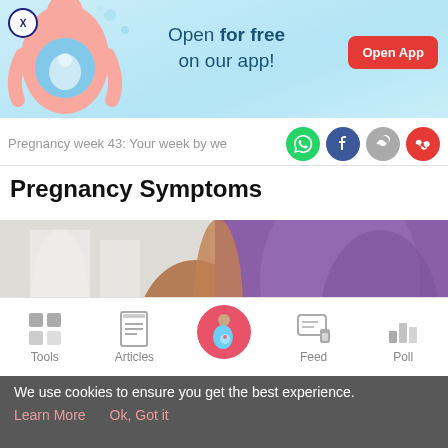[Figure (screenshot): App advertisement banner with light blue background, pregnancy illustration on left, text 'Open for free on our app!' in center, red 'Open App' button on right, and X close button top-left]
Pregnancy week 43: Your week by we
Pregnancy Symptoms
[Figure (photo): Pregnant woman in purple/lavender top showing baby bump, cropped mid-body shot]
Tools | Articles | (home) | Feed | Poll
We use cookies to ensure you get the best experience. Learn More   Ok, Got it